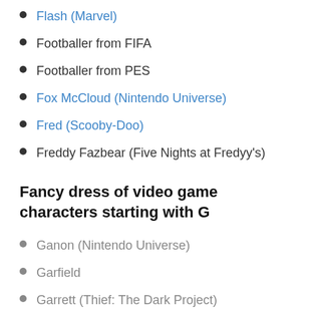Flash (Marvel)
Footballer from FIFA
Footballer from PES
Fox McCloud (Nintendo Universe)
Fred (Scooby-Doo)
Freddy Fazbear (Five Nights at Fredyy's)
Fancy dress of video game characters starting with G
Ganon (Nintendo Universe)
Garfield
Garrett (Thief: The Dark Project)
Garrus Vakarian (Mass effect)
Geralt of Rivia (The Witcher)